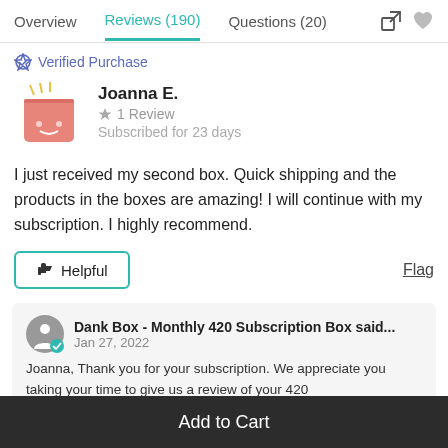Overview  Reviews (190)  Questions (20)
Verified Purchase
Joanna E.
★ 1 Review
Subscribed for 23 days
I just received my second box. Quick shipping and the products in the boxes are amazing! I will continue with my subscription. I highly recommend.
👍 Helpful    Flag
Dank Box - Monthly 420 Subscription Box said...
Jan 27, 2022
Joanna, Thank you for your subscription. We appreciate you taking your time to give us a review of your 420
Add to Cart